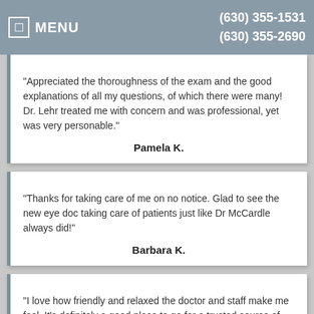MENU  (630) 355-1531  (630) 355-2690
"Appreciated the thoroughness of the exam and the good explanations of all my questions, of which there were many! Dr. Lehr treated me with concern and was professional, yet was very personable."
Pamela K.
"Thanks for taking care of me on no notice. Glad to see the new eye doc taking care of patients just like Dr McCardle always did!"
Barbara K.
"I love how friendly and relaxed the doctor and staff make me feel. It's definitely a good place to go for a trusted source of care."